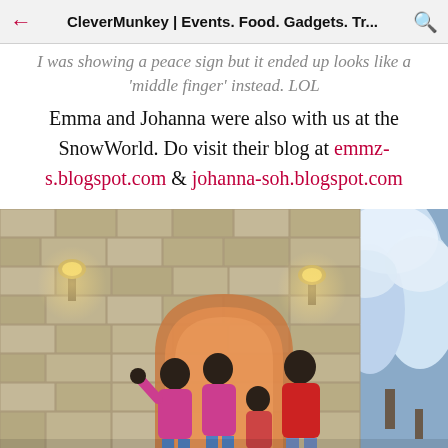CleverMunkey | Events. Food. Gadgets. Tr...
I was showing a peace sign but it ended up looks like a 'middle finger' instead. LOL
Emma and Johanna were also with us at the SnowWorld. Do visit their blog at emmz-s.blogspot.com & johanna-soh.blogspot.com
[Figure (photo): Group photo of people in winter coats standing under a stone archway in a snow-themed indoor environment (SnowWorld). Two women in bright pink/magenta coats, a child, and a man in red jacket pose in front of a medieval-style stone arch with warm lantern lighting. Snow-covered trees visible on the right side.]